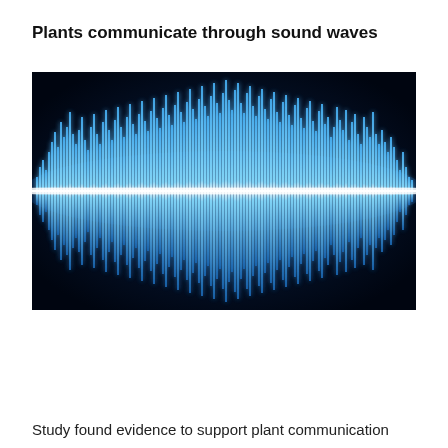Plants communicate through sound waves
[Figure (illustration): A glowing blue sound waveform visualization on a dark navy/black background. A horizontal bright white-blue line runs through the center with jagged blue spikes extending upward and downward symmetrically, resembling an audio waveform or oscilloscope display.]
Study found evidence to support plant communication